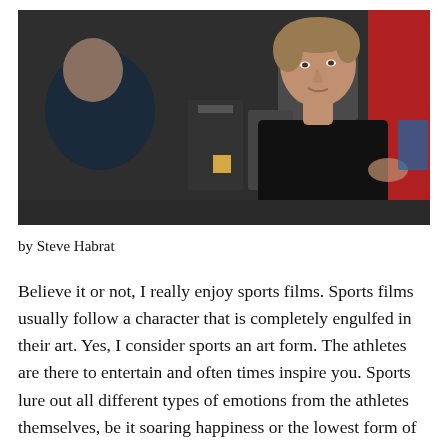[Figure (photo): A movie scene showing two men in what appears to be an office or locker room setting. A man with light brown hair in a dark blazer/jacket is facing the camera and appears to be speaking to another man whose back is turned to the camera. Office equipment and red walls visible in background.]
by Steve Habrat
Believe it or not, I really enjoy sports films. Sports films usually follow a character that is completely engulfed in their art. Yes, I consider sports an art form. The athletes are there to entertain and often times inspire you. Sports lure out all different types of emotions from the athletes themselves, be it soaring happiness or the lowest form of defeat. Yet I always find myself in awe over their